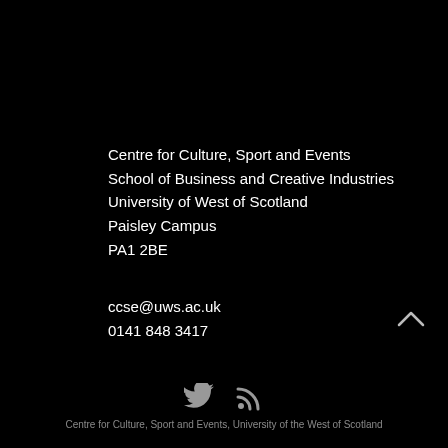Centre for Culture, Sport and Events
School of Business and Creative Industries
University of West of Scotland
Paisley Campus
PA1 2BE
ccse@uws.ac.uk
0141 848 3417
[Figure (other): Up arrow chevron icon (navigation)]
[Figure (other): Twitter bird icon and RSS feed icon]
Centre for Culture, Sport and Events, University of the West of Scotland